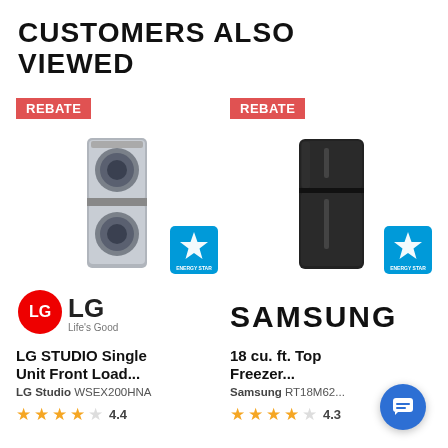CUSTOMERS ALSO VIEWED
[Figure (photo): LG STUDIO Single Unit Front Load washer/dryer with REBATE badge and ENERGY STAR logo]
[Figure (logo): LG Life's Good logo]
LG STUDIO Single Unit Front Load...
LG Studio WSEX200HNA
★★★★✩ 4.4
[Figure (photo): Samsung 18 cu. ft. Top Freezer refrigerator in black with REBATE badge and ENERGY STAR logo]
[Figure (logo): SAMSUNG logo]
18 cu. ft. Top Freezer...
Samsung RT18M62...
★★★★✩ 4.3